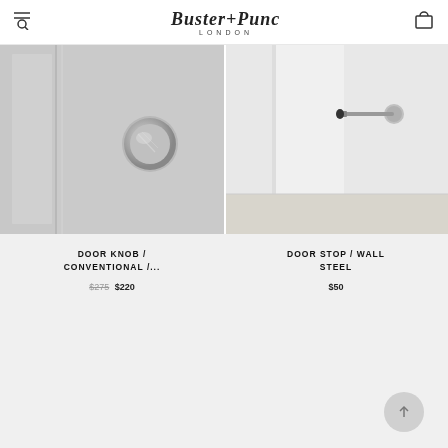Buster+Punch London
[Figure (photo): Close-up photo of a brushed steel door knob on a light grey paneled door]
[Figure (photo): Close-up photo of a metal wall door stop mounted on a white baseboard near a white door]
DOOR KNOB / CONVENTIONAL /...
$275 $220
DOOR STOP / WALL STEEL
$50